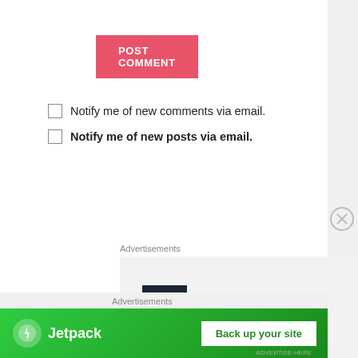POST COMMENT
Notify me of new comments via email.
Notify me of new posts via email.
Advertisements
[Figure (logo): P2 logo — dark square icon with two white rectangles beside bold 'P2' text, on grey background. Partially visible large bold text 'Getting your...' at bottom.]
Advertisements
[Figure (infographic): Jetpack advertisement banner on green gradient background. Jetpack logo (white lightning bolt in circle) and name 'Jetpack' on left, white button 'Back up your site' on right.]